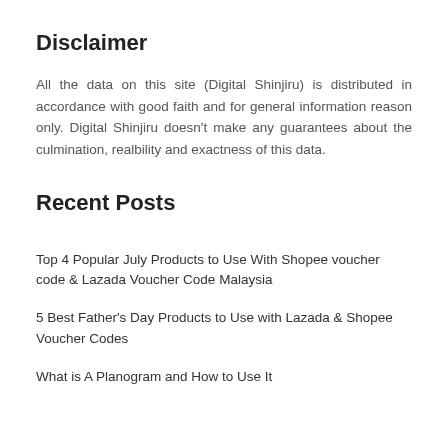Disclaimer
All the data on this site (Digital Shinjiru) is distributed in accordance with good faith and for general information reason only. Digital Shinjiru doesn't make any guarantees about the culmination, realbility and exactness of this data.
Recent Posts
Top 4 Popular July Products to Use With Shopee voucher code & Lazada Voucher Code Malaysia
5 Best Father's Day Products to Use with Lazada & Shopee Voucher Codes
What is A Planogram and How to Use It